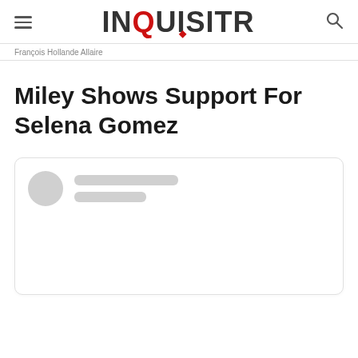INQUISITR
François Hollande Allaire
Miley Shows Support For Selena Gomez
[Figure (screenshot): Embedded social media post card with placeholder avatar circle and grey loading lines]